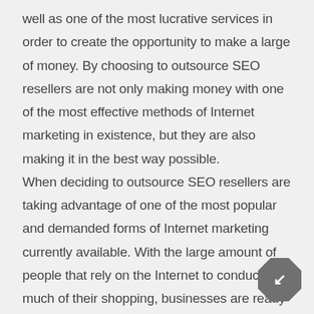well as one of the most lucrative services in order to create the opportunity to make a large of money. By choosing to outsource SEO resellers are not only making money with one of the most effective methods of Internet marketing in existence, but they are also making it in the best way possible. When deciding to outsource SEO resellers are taking advantage of one of the most popular and demanded forms of Internet marketing currently available. With the large amount of people that rely on the Internet to conduct much of their shopping, businesses are ready and willing to pay good money in order to get the marketing they need. With search engine optimization being one of the most popular, those that sell this service can expect to make a lot of money from it. When they outsource SEO resellers are